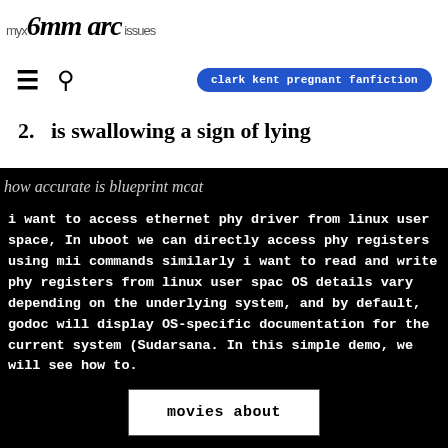myx6mm arc issues
≡  🔍   clark kent pregnant fanfiction
2.  is swallowing a sign of lying
how accurate is blueprint mcat
i want to access ethernet phy driver from linux user space, In uboot we can directly access phy registers using mii commands similarly i want to read and write phy registers from linux user spac OS details vary depending on the underlying system, and by default, godoc will display OS-specific documentation for the current system (Sudarsana. In this simple demo, we will see how to.
movies about